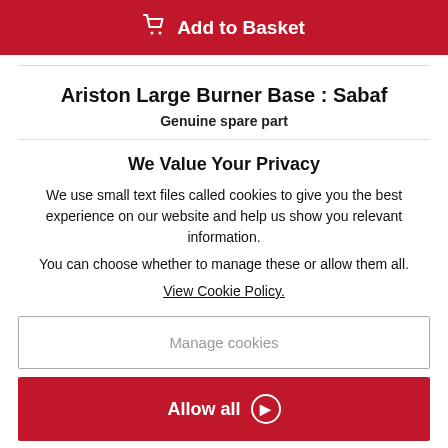[Figure (other): Red 'Add to Basket' button with shopping cart icon]
Ariston Large Burner Base : Sabaf
Genuine spare part
We Value Your Privacy
We use small text files called cookies to give you the best experience on our website and help us show you relevant information.
You can choose whether to manage these or allow them all.
View Cookie Policy.
[Figure (other): Manage cookies button — white background with grey border and grey text]
[Figure (other): Allow all button — red background with white text and arrow circle icon]